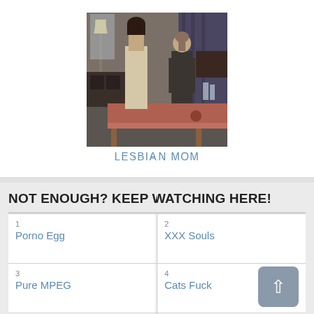[Figure (photo): Two women standing in a room with a massage table, viewed from behind]
LESBIAN MOM
NOT ENOUGH? KEEP WATCHING HERE!
1
Porno Egg
2
XXX Souls
3
Pure MPEG
4
Cats Fuck
5
Brash Eye
6
Pure Sets